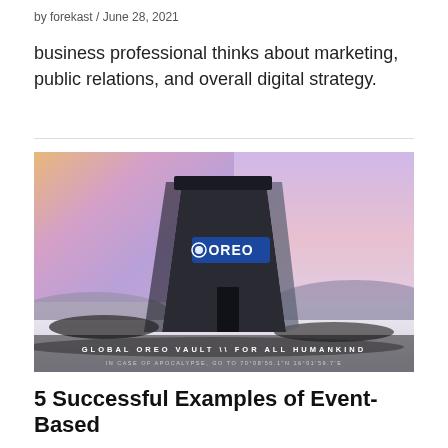by forekast / June 28, 2021
business professional thinks about marketing, public relations, and overall digital strategy.
[Figure (photo): Photograph of the Global Oreo Vault building against a sunset sky with snow. Text on image reads: GLOBAL OREO VAULT \\ FOR ALL HUMANKIND / IN CASE OF APOCALYPSE, GO TO 70°08'50.1"N 16°01'59.7'E]
5 Successful Examples of Event-Based